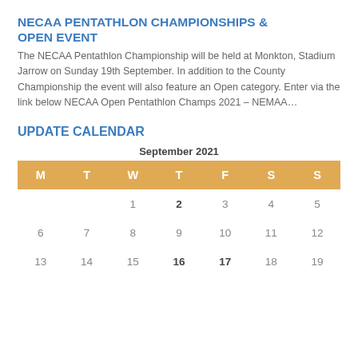NECAA PENTATHLON CHAMPIONSHIPS & OPEN EVENT
The NECAA Pentathlon Championship will be held at Monkton, Stadium Jarrow on Sunday 19th September. In addition to the County Championship the event will also feature an Open category. Enter via the link below NECAA Open Pentathlon Champs 2021 – NEMAA…
UPDATE CALENDAR
| M | T | W | T | F | S | S |
| --- | --- | --- | --- | --- | --- | --- |
|  |  | 1 | 2 | 3 | 4 | 5 |
| 6 | 7 | 8 | 9 | 10 | 11 | 12 |
| 13 | 14 | 15 | 16 | 17 | 18 | 19 |